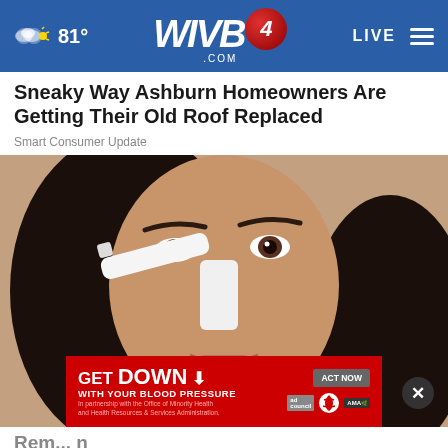81° WIVB4.COM LIVE
Sneaky Way Ashburn Homeowners Are Getting Their Old Roof Replaced
Smart Consumer Update
[Figure (photo): Close-up photo of a woman with dark hair applying something white (possibly a strip or cream) to the bridge of her nose. Red advertisement overlay at bottom reading 'GET DOWN WITH YOUR BLOOD PRESSURE - In partnership with the Office of Minority Health and Health Resources & Services Administration. ACT NOW' with ad council and AMA logos.]
Rem... Faster (Just Do This!)